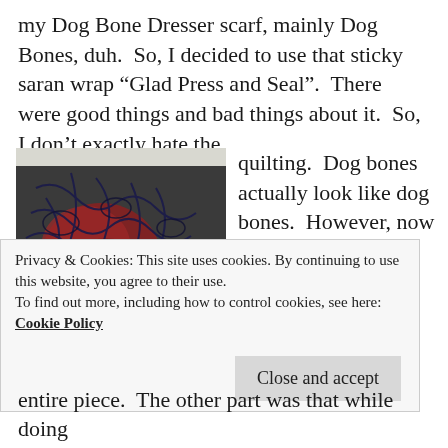my Dog Bone Dresser scarf, mainly Dog Bones, duh.  So, I decided to use that sticky saran wrap “Glad Press and Seal”.  There were good things and bad things about it.  So, I don’t exactly hate the
[Figure (photo): Close-up photo of a quilted fabric with dog bone stitching patterns, featuring dark grey/black fabric with red accents and decorative thread quilting visible.]
quilting.  Dog bones actually look like dog bones.  However, now that I am done with the quilting, I am pretty sure I
Privacy & Cookies: This site uses cookies. By continuing to use this website, you agree to their use.
To find out more, including how to control cookies, see here: Cookie Policy
entire piece.  The other part was that while doing